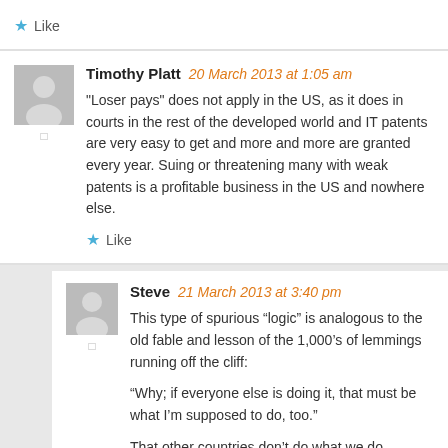Like
Timothy Platt 20 March 2013 at 1:05 am
"Loser pays" does not apply in the US, as it does in courts in the rest of the developed world and IT patents are very easy to get and more and more are granted every year. Suing or threatening many with weak patents is a profitable business in the US and nowhere else.
Like
Steve 21 March 2013 at 3:40 pm
This type of spurious “logic” is analogous to the old fable and lesson of the 1,000’s of lemmings running off the cliff:
“Why; if everyone else is doing it, that must be what I’m supposed to do, too.”
That other countries don’t do what we do . . .